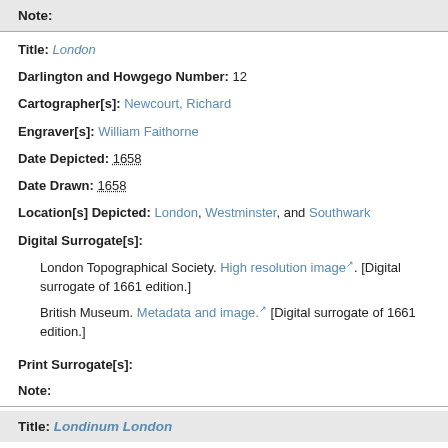Note:
Title: London
Darlington and Howgego Number: 12
Cartographer[s]: Newcourt, Richard
Engraver[s]: William Faithorne
Date Depicted: 1658
Date Drawn: 1658
Location[s] Depicted: London, Westminster, and Southwark
Digital Surrogate[s]:
London Topographical Society. High resolution image. [Digital surrogate of 1661 edition.]
British Museum. Metadata and image. [Digital surrogate of 1661 edition.]
Print Surrogate[s]:
Note:
Title: Londinum London